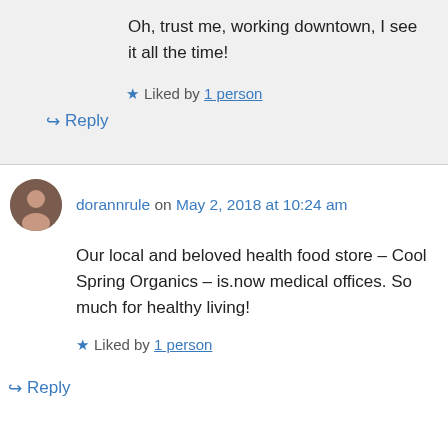Oh, trust me, working downtown, I see it all the time!
Liked by 1 person
↪ Reply
dorannrule on May 2, 2018 at 10:24 am
Our local and beloved health food store – Cool Spring Organics – is.now medical offices. So much for healthy living!
Liked by 1 person
↪ Reply